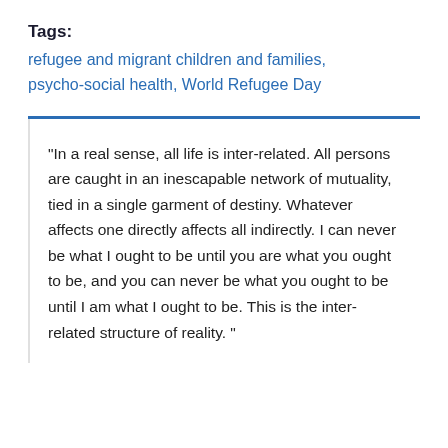Tags: refugee and migrant children and families, psycho-social health, World Refugee Day
“In a real sense, all life is inter-related. All persons are caught in an inescapable network of mutuality, tied in a single garment of destiny. Whatever affects one directly affects all indirectly. I can never be what I ought to be until you are what you ought to be, and you can never be what you ought to be until I am what I ought to be. This is the inter-related structure of reality.”